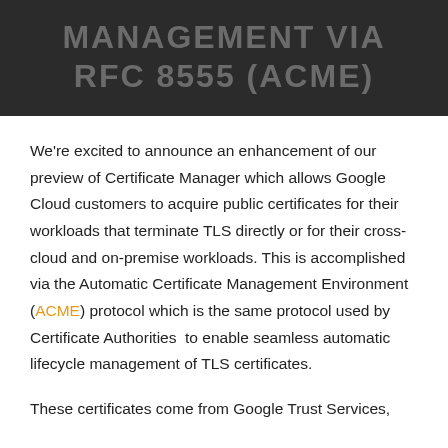MANAGEMENT VIA RFC 8555 (ACME)
We're excited to announce an enhancement of our preview of Certificate Manager which allows Google Cloud customers to acquire public certificates for their workloads that terminate TLS directly or for their cross-cloud and on-premise workloads. This is accomplished via the Automatic Certificate Management Environment (ACME) protocol which is the same protocol used by Certificate Authorities  to enable seamless automatic lifecycle management of TLS certificates.
These certificates come from Google Trust Services,